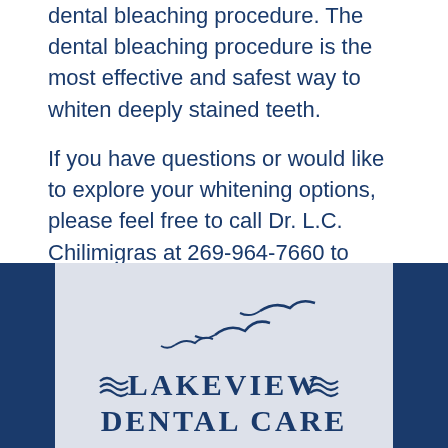dental bleaching procedure. The dental bleaching procedure is the most effective and safest way to whiten deeply stained teeth.
If you have questions or would like to explore your whitening options, please feel free to call Dr. L.C. Chilimigras at 269-964-7660 to schedule an appointment.
[Figure (logo): Lakeview Dental Care logo with seagull birds and wave decorations in navy blue on light background]